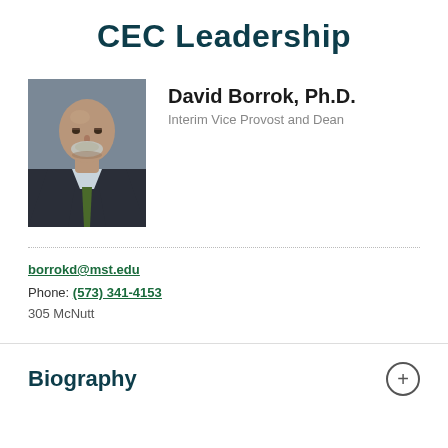CEC Leadership
[Figure (photo): Professional headshot of David Borrok, Ph.D., a bald man with a gray beard wearing a dark suit jacket and green tie, photographed against a gray background.]
David Borrok, Ph.D.
Interim Vice Provost and Dean
borrokd@mst.edu
Phone: (573) 341-4153
305 McNutt
Biography